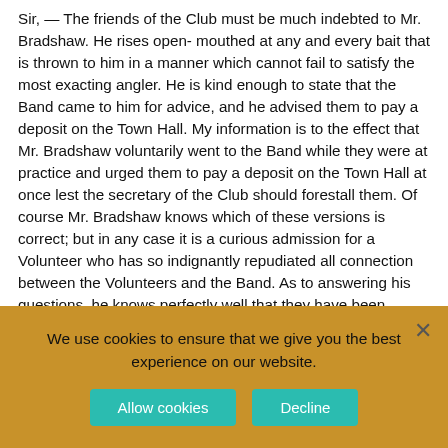Sir, — The friends of the Club must be much indebted to Mr. Bradshaw. He rises open-mouthed at any and every bait that is thrown to him in a manner which cannot fail to satisfy the most exacting angler. He is kind enough to state that the Band came to him for advice, and he advised them to pay a deposit on the Town Hall. My information is to the effect that Mr. Bradshaw voluntarily went to the Band while they were at practice and urged them to pay a deposit on the Town Hall at once lest the secretary of the Club should forestall them. Of course Mr. Bradshaw knows which of these versions is correct; but in any case it is a curious admission for a Volunteer who has so indignantly repudiated all connection between the Volunteers and the Band. As to answering his questions, he knows perfectly well that they have been answered long ago. I would refer him to the secretary's statement and to the published copies of the official letters
We use cookies to ensure that we give you the best experience on our website.